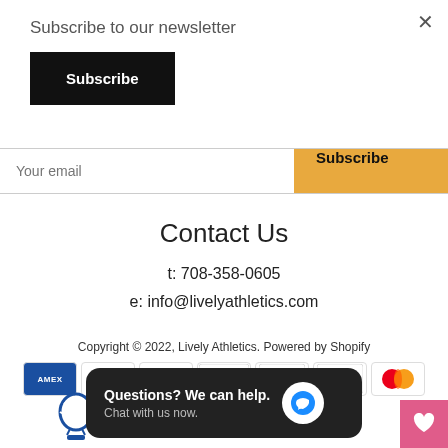×
Subscribe to our newsletter
Subscribe
Your email
Subscribe
Contact Us
t: 708-358-0605
e: info@livelyathletics.com
Copyright © 2022, Lively Athletics. Powered by Shopify
[Figure (infographic): Payment method icons: Amex, Apple Pay, Diners Club, Discover, Meta Pay, Google Pay, Mastercard, and others]
[Figure (other): Chat popup: Questions? We can help. Chat with us now.]